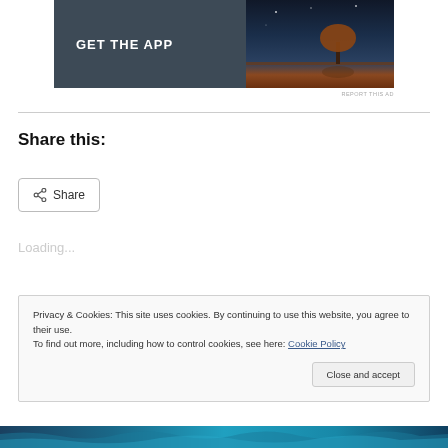[Figure (screenshot): GET THE APP advertisement banner with dark background and tree/night sky image on the right]
REPORT THIS AD
Share this:
[Figure (screenshot): Share button with share icon]
Loading...
Privacy & Cookies: This site uses cookies. By continuing to use this website, you agree to their use.
To find out more, including how to control cookies, see here: Cookie Policy
Close and accept